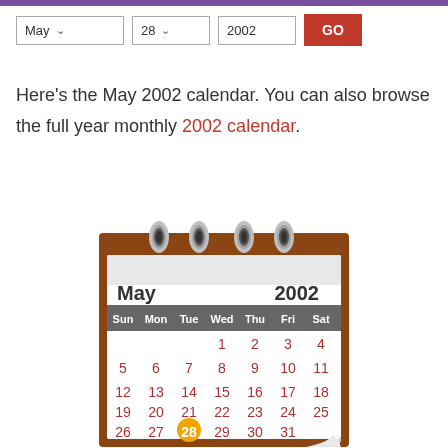[Figure (screenshot): Calendar navigation controls: Month dropdown showing 'May', Day dropdown showing '28', Year field showing '2002', and a red GO button]
Here's the May 2002 calendar. You can also browse the full year monthly 2002 calendar.
[Figure (illustration): A desk calendar showing May 2002. The calendar has a brown wooden frame with spiral binding at top. The header shows 'May' on the left and '2002' on the right. Days of week: Sun Mon Tue Wed Thu Fri Sat. Dates fill the grid with 28 highlighted in an orange circle. The bottom-right corner is curled up.]